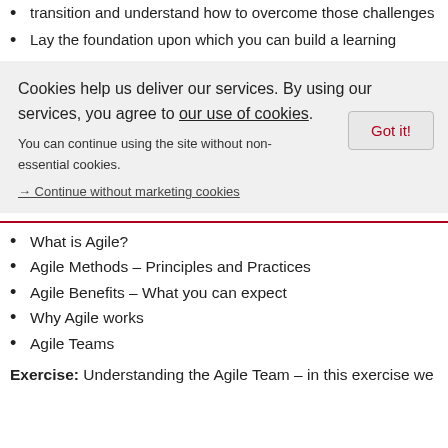transition and understand how to overcome those challenges
Lay the foundation upon which you can build a learning
Cookies help us deliver our services. By using our services, you agree to our use of cookies.
Got it!
You can continue using the site without non-essential cookies.
→ Continue without marketing cookies
What is Agile?
Agile Methods – Principles and Practices
Agile Benefits – What you can expect
Why Agile works
Agile Teams
Exercise: Understanding the Agile Team – in this exercise we